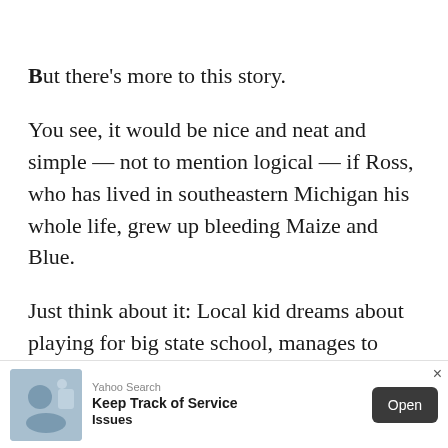But there's more to this story.
You see, it would be nice and neat and simple — not to mention logical — if Ross, who has lived in southeastern Michigan his whole life, grew up bleeding Maize and Blue.
Just think about it: Local kid dreams about playing for big state school, manages to make the squad as a walk-on, moves up the depth chart, becomes a hero in his first game playing for the team he always loved, roll
[Figure (screenshot): Yahoo Search advertisement banner: 'Keep Track of Service Issues' with an Open button and X/D logo icons]